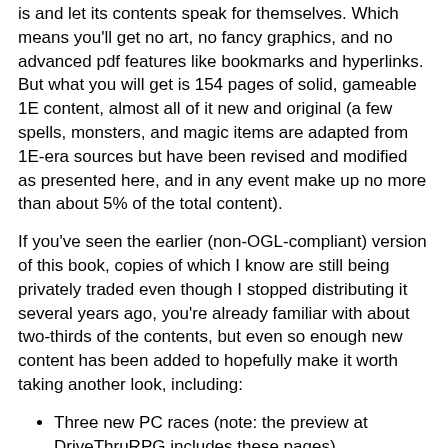is and let its contents speak for themselves. Which means you'll get no art, no fancy graphics, and no advanced pdf features like bookmarks and hyperlinks. But what you will get is 154 pages of solid, gameable 1E content, almost all of it new and original (a few spells, monsters, and magic items are adapted from 1E-era sources but have been revised and modified as presented here, and in any event make up no more than about 5% of the total content).
If you've seen the earlier (non-OGL-compliant) version of this book, copies of which I know are still being privately traded even though I stopped distributing it several years ago, you're already familiar with about two-thirds of the contents, but even so enough new content has been added to hopefully make it worth taking another look, including:
Three new PC races (note: the preview at DriveThruRPG includes these pages)
The savant class, including 68 new spells
Complete system for territory development and management by PCs
32 new magic items